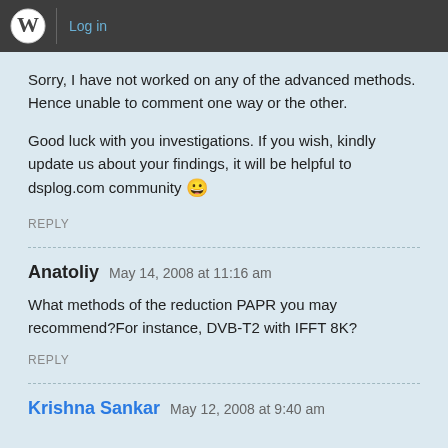WordPress Log in
Sorry, I have not worked on any of the advanced methods. Hence unable to comment one way or the other.
Good luck with you investigations. If you wish, kindly update us about your findings, it will be helpful to dsplog.com community 😀
REPLY
Anatoliy   May 14, 2008 at 11:16 am
What methods of the reduction PAPR you may recommend?For instance, DVB-T2 with IFFT 8K?
REPLY
Krishna Sankar   May 12, 2008 at 9:40 am